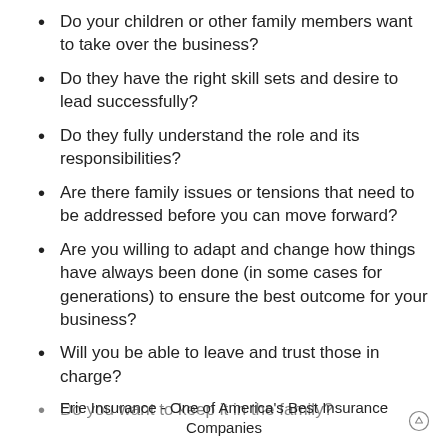Do your children or other family members want to take over the business?
Do they have the right skill sets and desire to lead successfully?
Do they fully understand the role and its responsibilities?
Are there family issues or tensions that need to be addressed before you can move forward?
Are you willing to adapt and change how things have always been done (in some cases for generations) to ensure the best outcome for your business?
Will you be able to leave and trust those in charge?
Do you want to keep it in the family?
Erie Insurance - One of America's Best Insurance Companies